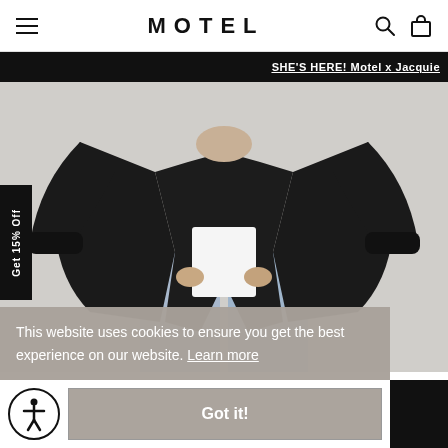MOTEL — navigation header with hamburger menu, logo, search and cart icons
SHE'S HERE! Motel x Jacquie
[Figure (photo): Fashion model wearing an oversized black leather bomber jacket open over a white crop top, with light blue wide-leg jeans, shown from chest to thigh against a light grey background]
Get 15% Off
This website uses cookies to ensure you get the best experience on our website. Learn more
Got it!